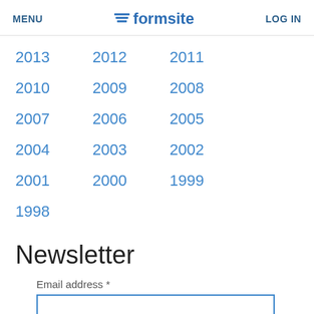MENU | formsite | LOG IN
2013
2012
2011
2010
2009
2008
2007
2006
2005
2004
2003
2002
2001
2000
1999
1998
Newsletter
Email address *